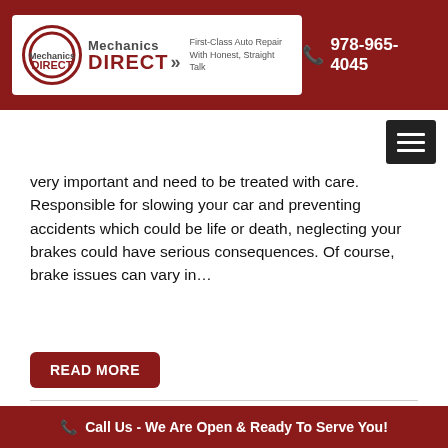Mechanics DIRECT — First-Class Auto Repair With Honest, Straight Talk | 978-965-4045
very important and need to be treated with care. Responsible for slowing your car and preventing accidents which could be life or death, neglecting your brakes could have serious consequences. Of course, brake issues can vary in...
READ MORE
[Figure (photo): Close-up of a hand gripping a gear shift knob with gear positions labeled R, 1, 2, 3 on a dark background]
Call Us - We Are Open & Ready To Serve You!